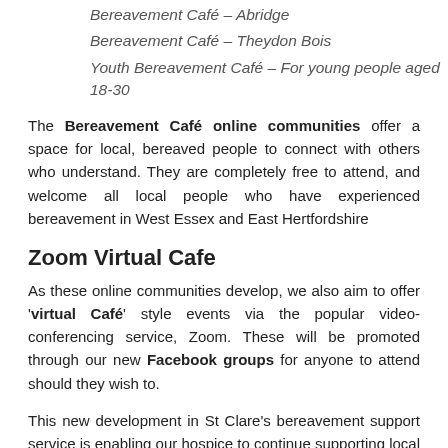Bereavement Café – Abridge
Bereavement Café – Theydon Bois
Youth Bereavement Café – For young people aged 18-30
The Bereavement Café online communities offer a space for local, bereaved people to connect with others who understand. They are completely free to attend, and welcome all local people who have experienced bereavement in West Essex and East Hertfordshire
Zoom Virtual Cafe
As these online communities develop, we also aim to offer 'virtual Café' style events via the popular video-conferencing service, Zoom. These will be promoted through our new Facebook groups for anyone to attend should they wish to.
This new development in St Clare's bereavement support service is enabling our hospice to continue supporting local people who are grieving throughout